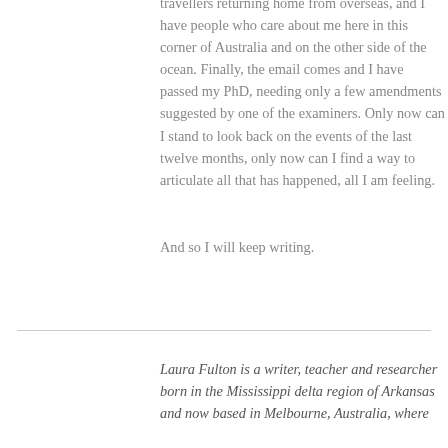travellers returning home from overseas, and I have people who care about me here in this corner of Australia and on the other side of the ocean. Finally, the email comes and I have passed my PhD, needing only a few amendments suggested by one of the examiners. Only now can I stand to look back on the events of the last twelve months, only now can I find a way to articulate all that has happened, all I am feeling.
And so I will keep writing.
Laura Fulton is a writer, teacher and researcher born in the Mississippi delta region of Arkansas and now based in Melbourne, Australia, where